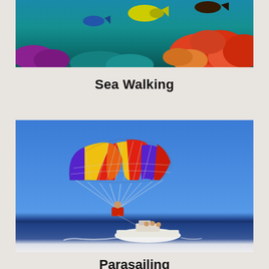[Figure (photo): Underwater coral reef scene with colorful fish, coral formations in orange, red, purple and teal colors against blue water]
Sea Walking
[Figure (photo): Parasailing scene showing a colorful parachute in red, yellow, orange and purple colors against a clear blue sky, with a white boat in the water below]
Parasailing